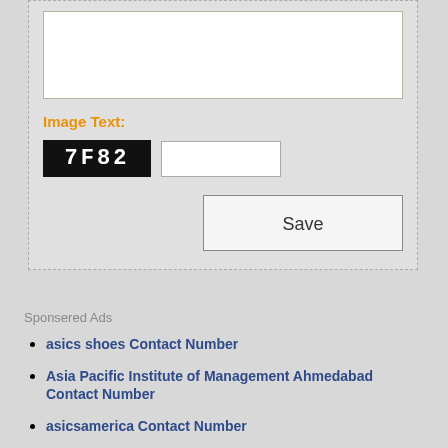[Figure (screenshot): Web form panel with a textarea at top, an Image Text CAPTCHA label in orange, a black CAPTCHA image showing '7F82' and an empty text input field next to it, and a Save button aligned to the right.]
Image Text:
7F82
Save
Sponsered Ads
asics shoes Contact Number
Asia Pacific Institute of Management Ahmedabad Contact Number
asicsamerica Contact Number